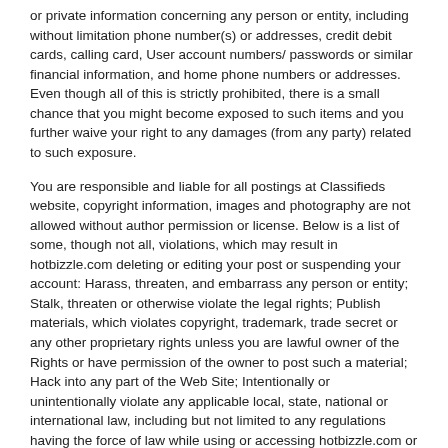or private information concerning any person or entity, including without limitation phone number(s) or addresses, credit debit cards, calling card, User account numbers/ passwords or similar financial information, and home phone numbers or addresses. Even though all of this is strictly prohibited, there is a small chance that you might become exposed to such items and you further waive your right to any damages (from any party) related to such exposure.
You are responsible and liable for all postings at Classifieds website, copyright information, images and photography are not allowed without author permission or license. Below is a list of some, though not all, violations, which may result in hotbizzle.com deleting or editing your post or suspending your account: Harass, threaten, and embarrass any person or entity; Stalk, threaten or otherwise violate the legal rights; Publish materials, which violates copyright, trademark, trade secret or any other proprietary rights unless you are lawful owner of the Rights or have permission of the owner to post such a material; Hack into any part of the Web Site; Intentionally or unintentionally violate any applicable local, state, national or international law, including but not limited to any regulations having the force of law while using or accessing hotbizzle.com or in connection with your use of hotbizzle.com in any manner; Post Spam, chain letters, promotional materials or any form of solicitation, advertise or offer to sell any goods or services for any commercial purpose, other than in areas of the website intended for such uses, hotbizzle.com strictly